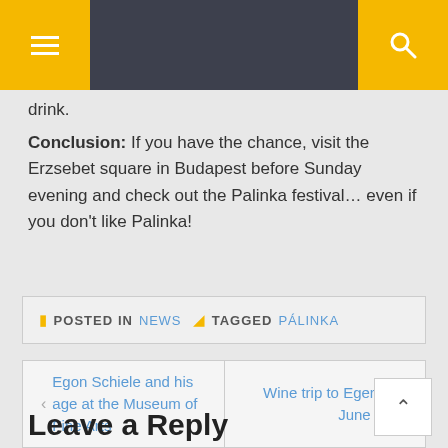Navigation bar with menu and search buttons
drink.
Conclusion: If you have the chance, visit the Erzsebet square in Budapest before Sunday evening and check out the Palinka festival... even if you don't like Palinka!
POSTED IN NEWS   TAGGED PÁLINKA
Egon Schiele and his age at the Museum of Fine Arts | Wine trip to Eger on June 8th
Leave a Reply